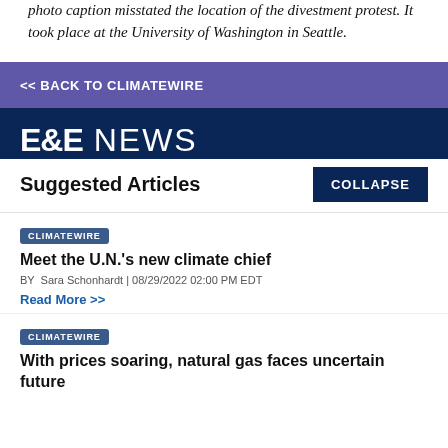photo caption misstated the location of the divestment protest. It took place at the University of Washington in Seattle.
<< BACK TO CLIMATEWIRE
[Figure (logo): E&E NEWS logo in white on dark navy background]
Suggested Articles
COLLAPSE
CLIMATEWIRE
Meet the U.N.'s new climate chief
BY Sara Schonhardt | 08/29/2022 02:00 PM EDT
Read More >>
CLIMATEWIRE
With prices soaring, natural gas faces uncertain future